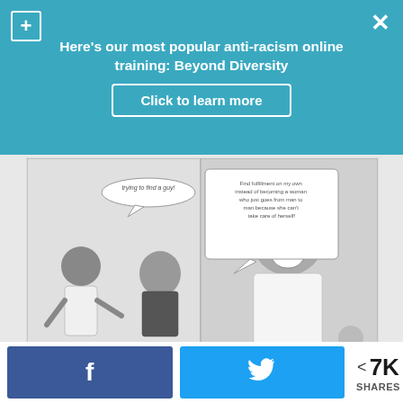Here's our most popular anti-racism online training: Beyond Diversity
Click to learn more
[Figure (illustration): A grayscale comic strip showing two panels: left panel has a person saying 'Oh, congrats! What brought around the change?' to a woman in hijab, with a speech bubble at top saying 'trying to find a guy!'. Right panel shows a larger figure with an open mouth speaking, with text 'Find fulfillment on my own instead of becoming a woman who just goes from man to man because she can't take care of herself!', and a small figure in background.]
How Judging Women for Dependence on Men Reveals Your Internalized Misogyny
< 7K SHARES